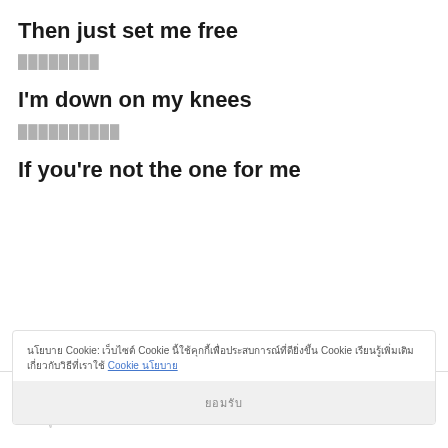Then just set me free
████████
I'm down on my knees
██████████
If you're not the one for me
นโยบาย Cookie: เว็บไซต์ Cookie นี้ใช้คุกกี้เพื่อประสบการณ์ที่ดียิ่งขึ้น Cookie เรียนรู้เพิ่มเติมเกี่ยวกับวิธีที่เราใช้ Cookie นโยบาย
ยอมรับ
เมนู | หน้าแรก | ค้น | บน | เนื้อหา